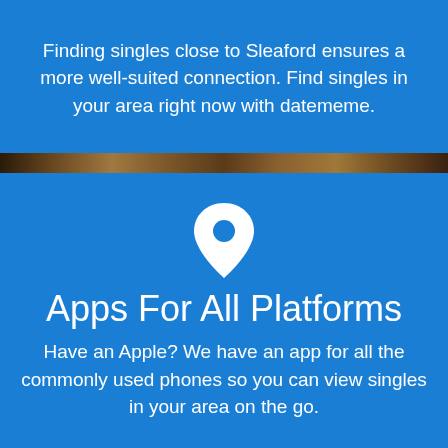Finding singles close to Sleaford ensures a more well-suited connection. Find singles in your area right now with datememe.
[Figure (illustration): White location pin icon on blue background]
Apps For All Platforms
Have an Apple? We have an app for all the commonly used phones so you can view singles in your area on the go.
[Figure (illustration): UK / British flag icon]
Free Dating Site in Sleaford